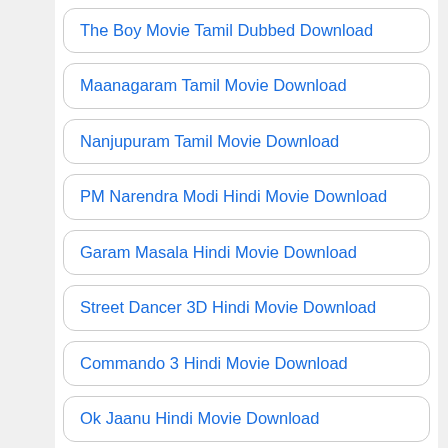The Boy Movie Tamil Dubbed Download
Maanagaram Tamil Movie Download
Nanjupuram Tamil Movie Download
PM Narendra Modi Hindi Movie Download
Garam Masala Hindi Movie Download
Street Dancer 3D Hindi Movie Download
Commando 3 Hindi Movie Download
Ok Jaanu Hindi Movie Download
Don Aur Doctor Movie Hindi Dubbed Download